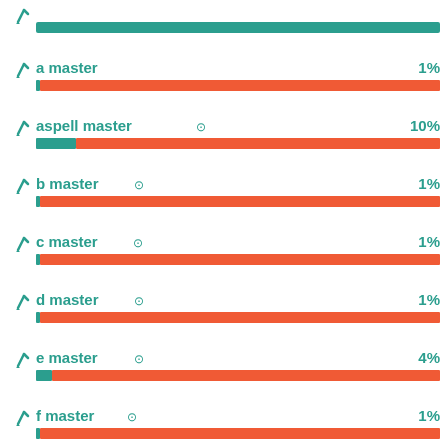[Figure (bar-chart): Branch coverage bars]